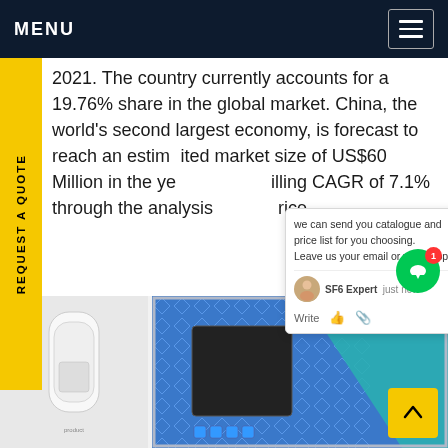MENU
2021. The country currently accounts for a 19.76% share in the global market. China, the world's second largest economy, is forecast to reach an estimated market size of US$60 Million in the year, trailing a CAGR of 7.1% through the analysis period price
[Figure (screenshot): Chat popup widget showing message: 'we can send you catalogue and price list for you choosing. Leave us your email or whatsapp.' with SF6 Expert avatar and 'just now' timestamp, Write/like/attach controls]
[Figure (photo): Product images: left shows a white cylindrical product container; right shows a blue decorative panel/device with diamond pattern and a dark square sensor/screen, with teal diagonal stripe]